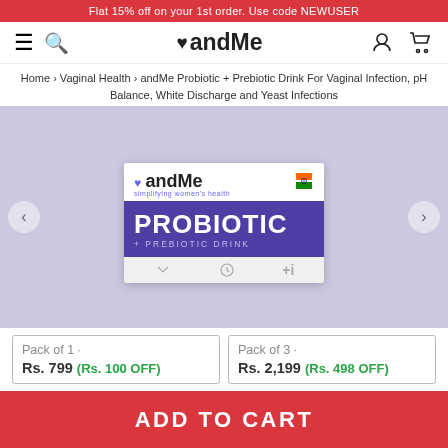Flat 15% off on your 1st order. Use code NEWUSER
[Figure (logo): andMe logo with heart icon, hamburger menu and search icon on left, user and cart icons on right]
Home › Vaginal Health › andMe Probiotic + Prebiotic Drink For Vaginal Infection, pH Balance, White Discharge and Yeast Infections
[Figure (photo): andMe Probiotic + Prebiotic Drink product box on lavender background, showing brand logo, PROBIOTIC label in purple, + PREBIOTIC DRINK subtitle, with navigation arrows on left and right]
Pack of 1 · Rs. 799 (Rs. 100 OFF)
Pack of 3 · Rs. 2,199 (Rs. 498 OFF)
ADD TO CART